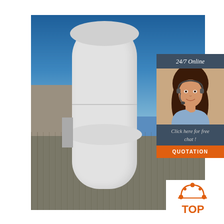[Figure (photo): Large white vertical cryogenic liquid nitrogen storage tank outdoors, surrounded by chain-link fence, industrial building in background, blue sky.]
[Figure (photo): Customer service representative woman with headset smiling, used in a 24/7 online chat widget overlay.]
24/7 Online
Click here for free chat !
QUOTATION
[Figure (logo): TOP logo with orange stylized house/arch icon and the word TOP in orange text.]